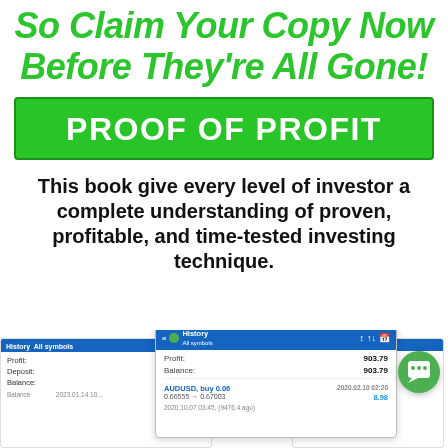So Claim Your Copy Now Before They're All Gone!
PROOF OF PROFIT
This book give every level of investor a complete understanding of proven, profitable, and time-tested investing technique.
[Figure (screenshot): Trading platform screenshots showing profit and balance details: Profit 903.79, Balance 903.79, AUDUSD buy 0.06, Deposit 1000.0, Balance 1035.68, and All symbols history panels.]